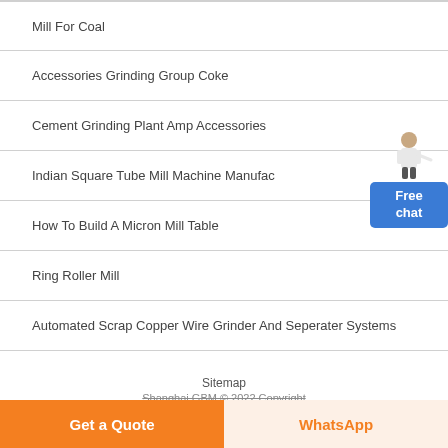Mill For Coal
Accessories Grinding Group Coke
Cement Grinding Plant Amp Accessories
Indian Square Tube Mill Machine Manufac
How To Build A Micron Mill Table
Ring Roller Mill
Automated Scrap Copper Wire Grinder And Seperater Systems
400 2 800 Surface Grinding Machine Jakarta
Grinding Machine And Jaw Crusher China
Grinder Crushing For Hard Things Manufacturers
[Figure (illustration): A woman in business attire with a 'Free chat' button widget in the top-right corner]
Sitemap
Shanghai GBM © 2022 Copyright
Get a Quote
WhatsApp